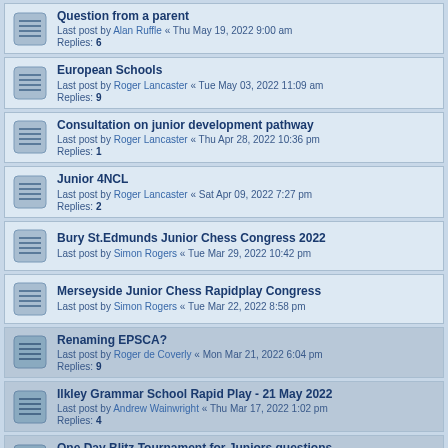Question from a parent
Last post by Alan Ruffle « Thu May 19, 2022 9:00 am
Replies: 6
European Schools
Last post by Roger Lancaster « Tue May 03, 2022 11:09 am
Replies: 9
Consultation on junior development pathway
Last post by Roger Lancaster « Thu Apr 28, 2022 10:36 pm
Replies: 1
Junior 4NCL
Last post by Roger Lancaster « Sat Apr 09, 2022 7:27 pm
Replies: 2
Bury St.Edmunds Junior Chess Congress 2022
Last post by Simon Rogers « Tue Mar 29, 2022 10:42 pm
Merseyside Junior Chess Rapidplay Congress
Last post by Simon Rogers « Tue Mar 22, 2022 8:58 pm
Renaming EPSCA?
Last post by Roger de Coverly « Mon Mar 21, 2022 6:04 pm
Replies: 9
Ilkley Grammar School Rapid Play - 21 May 2022
Last post by Andrew Wainwright « Thu Mar 17, 2022 1:02 pm
Replies: 4
One Day Blitz Tournament for Juniors questions
Last post by Joseph Conlon « Tue Mar 01, 2022 11:11 am
Replies: 20
1 2 (pagination)